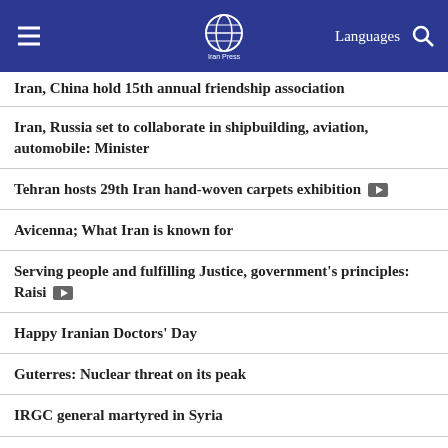Iran Press — Languages
Iran, China hold 15th annual friendship association
Iran, Russia set to collaborate in shipbuilding, aviation, automobile: Minister
Tehran hosts 29th Iran hand-woven carpets exhibition [video]
Avicenna; What Iran is known for
Serving people and fulfilling Justice, government's principles: Raisi [video]
Happy Iranian Doctors' Day
Guterres: Nuclear threat on its peak
IRGC general martyred in Syria
Iran calls for nuclear disarmament of US, pressure on Israeli regime [video]